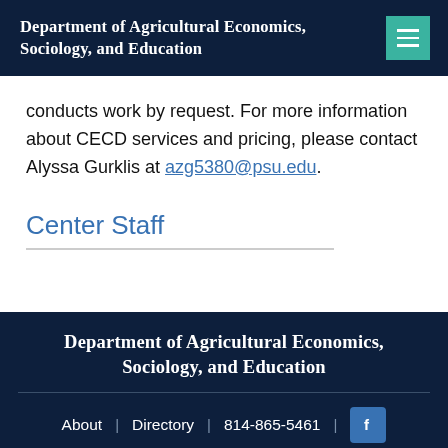Department of Agricultural Economics, Sociology, and Education
conducts work by request. For more information about CECD services and pricing, please contact Alyssa Gurklis at azg5380@psu.edu.
Center Staff
Department of Agricultural Economics, Sociology, and Education
About | Directory | 814-865-5461 |